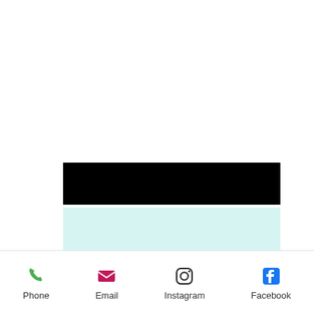[Figure (other): Black redaction bar]
What to Expect
Phone  Email  Instagram  Facebook